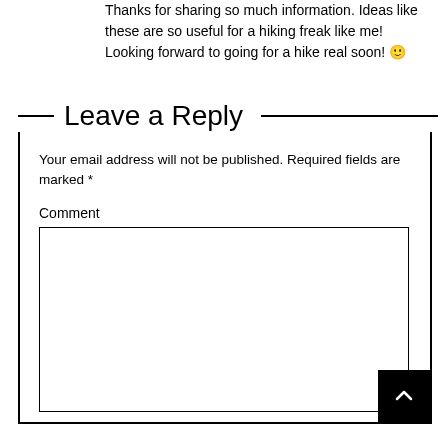Thanks for sharing so much information. Ideas like these are so useful for a hiking freak like me! Looking forward to going for a hike real soon! 🙂
Leave a Reply
Your email address will not be published. Required fields are marked *
Comment